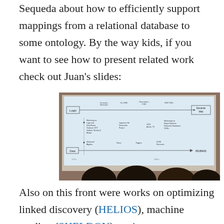Sequeda about how to efficiently support mappings from a relational database to some ontology. By the way kids, if you want to see how to present related work check out Juan's slides:
[Figure (photo): Photograph of a presentation slide being projected, showing a timeline diagram with two tracks: Logic (leading to Semantic Web) and Data (leading to RDBMS), with historical milestones. Audience silhouettes visible at the bottom.]
Also on this front were works on optimizing linked discovery (HELIOS), machine reading (SHELDON), entity